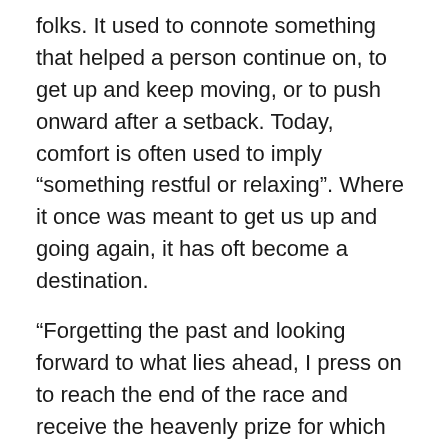folks. It used to connote something that helped a person continue on, to get up and keep moving, or to push onward after a setback. Today, comfort is often used to imply “something restful or relaxing”. Where it once was meant to get us up and going again, it has oft become a destination.
“Forgetting the past and looking forward to what lies ahead, I press on to reach the end of the race and receive the heavenly prize for which God, through Christ Jesus, is calling us.” – Philippians 3:13b-14, NLT
What is holding you back? A house? A car? The desire to be married? The desire for a family? Perhaps career goals?
While still holding to the truth of God and living as He has taught us to live, let the nothing and God, Him, the…